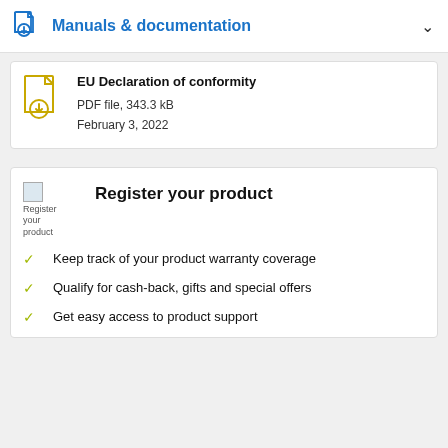Manuals & documentation
EU Declaration of conformity
PDF file, 343.3 kB
February 3, 2022
Register your product
Keep track of your product warranty coverage
Qualify for cash-back, gifts and special offers
Get easy access to product support